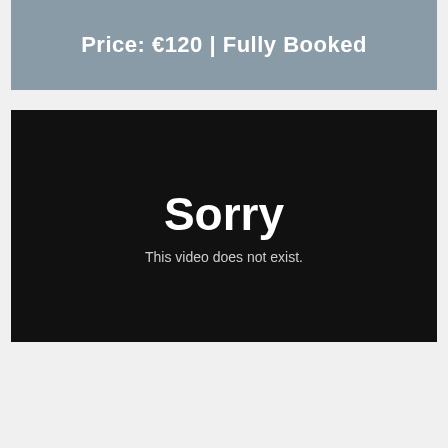Price: €120 | Fully Booked
[Figure (screenshot): Black video player area showing error message: 'Sorry — This video does not exist.']
Course FAQ ❯  Contact Gerard via email at gerard@gerardconneelyphotography.com or phone 0872295675 to arrange a booking.  Book a Place ❯  Go to top